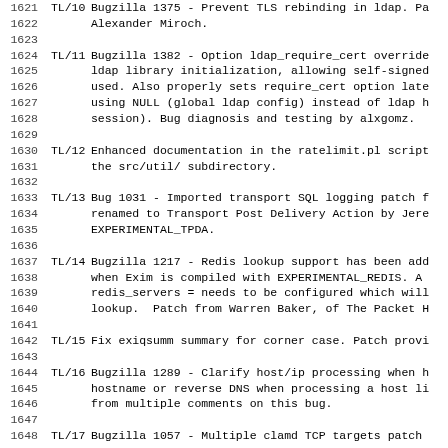1621 TL/10 Bugzilla 1375 - Prevent TLS rebinding in ldap. Pa Alexander Miroch.
1624 TL/11 Bugzilla 1382 - Option ldap_require_cert override ldap library initialization, allowing self-signed used. Also properly sets require_cert option late using NULL (global ldap config) instead of ldap h session). Bug diagnosis and testing by alxgomz.
1630 TL/12 Enhanced documentation in the ratelimit.pl script the src/util/ subdirectory.
1633 TL/13 Bug 1031 - Imported transport SQL logging patch f renamed to Transport Post Delivery Action by Jere EXPERIMENTAL_TPDA.
1637 TL/14 Bugzilla 1217 - Redis lookup support has been add when Exim is compiled with EXPERIMENTAL_REDIS. A redis_servers = needs to be configured which will lookup.  Patch from Warren Baker, of The Packet H
1642 TL/15 Fix exiqsumm summary for corner case. Patch provi
1644 TL/16 Bugzilla 1289 - Clarify host/ip processing when h hostname or reverse DNS when processing a host li from multiple comments on this bug.
1648 TL/17 Bugzilla 1057 - Multiple clamd TCP targets patch
1650 TL/18 Had previously added a -CONTINUE option to runtes Missed a few lines, added it to make the runtest interaction.